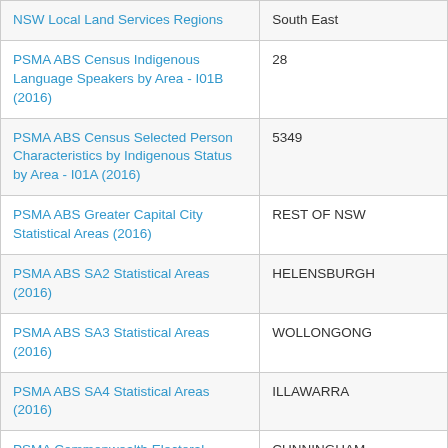| Dataset | Value |
| --- | --- |
| NSW Local Land Services Regions | South East |
| PSMA ABS Census Indigenous Language Speakers by Area - I01B (2016) | 28 |
| PSMA ABS Census Selected Person Characteristics by Indigenous Status by Area - I01A (2016) | 5349 |
| PSMA ABS Greater Capital City Statistical Areas (2016) | REST OF NSW |
| PSMA ABS SA2 Statistical Areas (2016) | HELENSBURGH |
| PSMA ABS SA3 Statistical Areas (2016) | WOLLONGONG |
| PSMA ABS SA4 Statistical Areas (2016) | ILLAWARRA |
| PSMA Commonwealth Electoral Boundaries (2016) | CUNNINGHAM |
| PSMA Commonwealth Electoral ... | CUNNINGHAM |